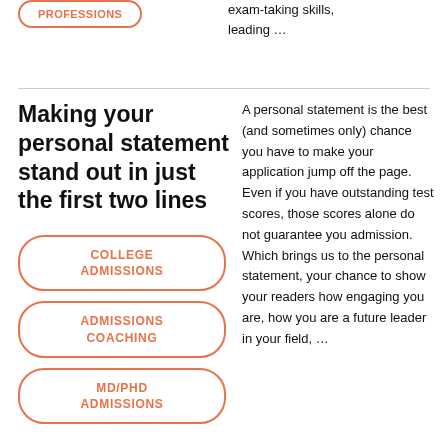[Figure (other): Pill-shaped tag with orange border reading PROFESSIONS]
exam-taking skills, leading …
Making your personal statement stand out in just the first two lines
[Figure (other): Pill-shaped tag with orange border reading COLLEGE ADMISSIONS]
[Figure (other): Pill-shaped tag with orange border reading ADMISSIONS COACHING]
[Figure (other): Pill-shaped tag with orange border reading MD/PHD ADMISSIONS]
A personal statement is the best (and sometimes only) chance you have to make your application jump off the page. Even if you have outstanding test scores, those scores alone do not guarantee you admission. Which brings us to the personal statement, your chance to show your readers how engaging you are, how you are a future leader in your field, …